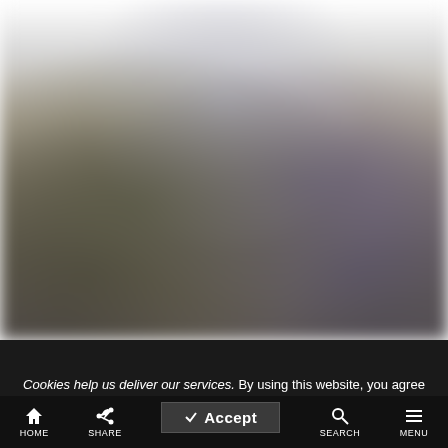[Figure (photo): Blurred outdoor photo showing indistinct figures or objects, heavily blurred, with light tones at top fading to darker tones toward bottom.]
Cookies help us deliver our services. By using this website, you agree to our use of cookies. Learn More
HOME  SHARE  Accept  SEARCH  MENU